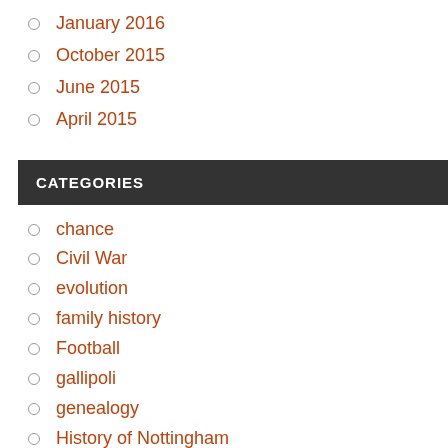January 2016
October 2015
June 2015
April 2015
CATEGORIES
chance
Civil War
evolution
family history
Football
gallipoli
genealogy
History of Nottingham
holocaust
Midlands Football
Nottingham